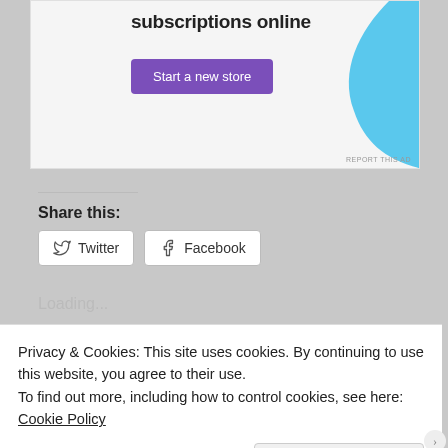[Figure (screenshot): Advertisement banner with text 'subscriptions online', a purple 'Start a new store' button, and a light blue decorative blob shape on the right. 'REPORT THIS AD' text in lower right corner.]
Share this:
Twitter   Facebook
Loading...
Related
Day 1, Part 9: Breaking...   Day 2, Part 9: Solo Date...
Privacy & Cookies: This site uses cookies. By continuing to use this website, you agree to their use.
To find out more, including how to control cookies, see here:
Cookie Policy
Close and accept